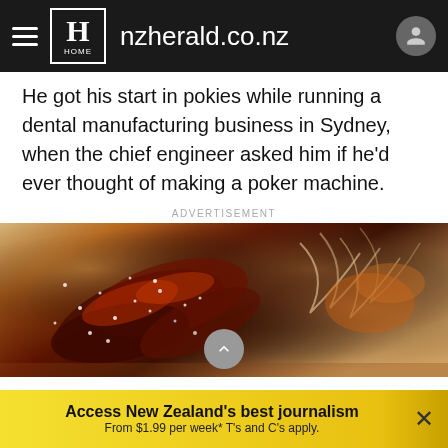nzherald.co.nz
He got his start in pokies while running a dental manufacturing business in Sydney, when the chief engineer asked him if he'd ever thought of making a poker machine.
ADVERTISEMENT
[Figure (photo): Close-up photo of glazed meat ribs with sesame seeds and noodle salad on a wooden board]
Access New Zealand's best journalism From $1.99 per week* T's and C's apply.